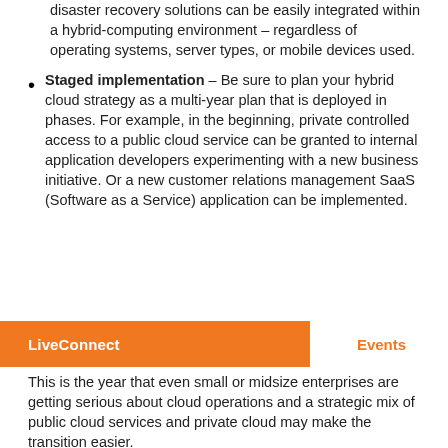disaster recovery solutions can be easily integrated within a hybrid-computing environment – regardless of operating systems, server types, or mobile devices used.
Staged implementation – Be sure to plan your hybrid cloud strategy as a multi-year plan that is deployed in phases. For example, in the beginning, private controlled access to a public cloud service can be granted to internal application developers experimenting with a new business initiative. Or a new customer relations management SaaS (Software as a Service) application can be implemented.
LiveConnect        Events
This is the year that even small or midsize enterprises are getting serious about cloud operations and a strategic mix of public cloud services and private cloud may make the transition easier.